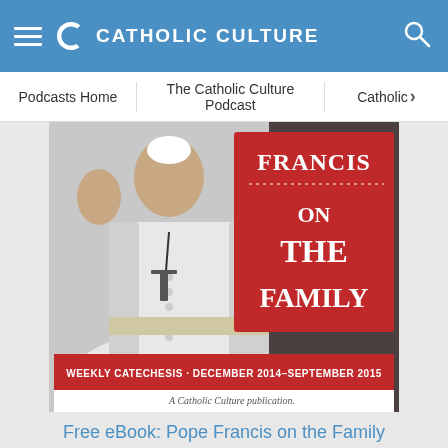Catholic Culture
Podcasts Home | The Catholic Culture Podcast | Catholic
[Figure (illustration): Book cover illustration of Pope Francis on the Family - Weekly Catechesis December 2014–September 2015, a Catholic Culture publication. Shows Pope Francis in white papal vestments waving, with a red panel showing 'Francis on the Family' text.]
Free eBook: Pope Francis on the Family